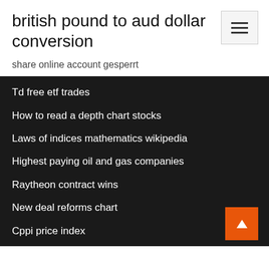british pound to aud dollar conversion
share online account gesperrt
Td free etf trades
How to read a depth chart stocks
Laws of indices mathematics wikipedia
Highest paying oil and gas companies
Raytheon contract wins
New deal reforms chart
Cppi price index
Diploma oil and gas uitm
Initial stockings kohls